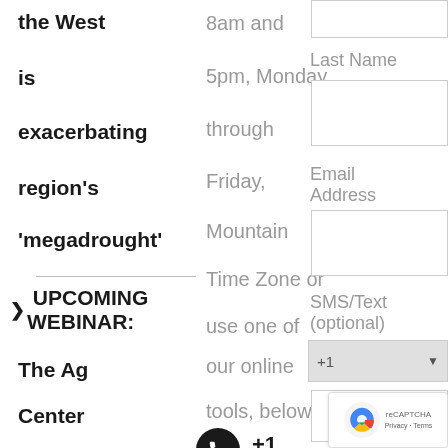the West
is
exacerbating
region's
'megadrought'
> UPCOMING WEBINAR:
The Ag
Center
“Easily
Integrated
Dashboard
8am and
5pm, Monday
through
Friday,
Mountain
Time Zone or
use one of
our online
tools, below.
+1 855.595.480 Toll-Free
Last Name
Email Address
SMS/Text (optional)